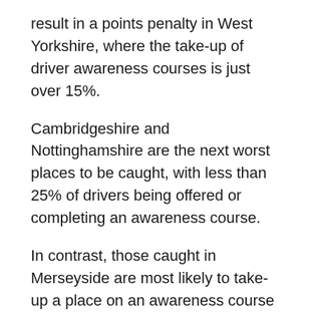result in a points penalty in West Yorkshire, where the take-up of driver awareness courses is just over 15%.
Cambridgeshire and Nottinghamshire are the next worst places to be caught, with less than 25% of drivers being offered or completing an awareness course.
In contrast, those caught in Merseyside are most likely to take-up a place on an awareness course with 78.82% of drivers taking the option – the highest out of any force in England and Wales.
The availability of driver awareness courses is also highlighted in this research, with some forces, such as Humberside and Norfolk offering up to seven different types of course to those found speeding.